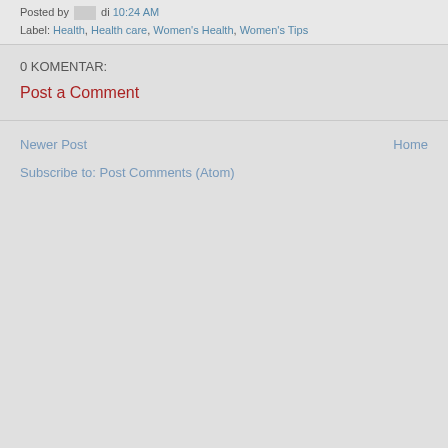Posted by [author image] di 10:24 AM
Label: Health, Health care, Women's Health, Women's Tips
0 KOMENTAR:
Post a Comment
Newer Post
Home
Subscribe to: Post Comments (Atom)